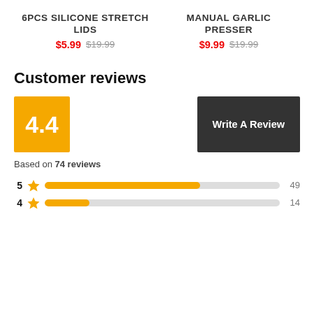6PCS SILICONE STRETCH LIDS
$5.99 $19.99
MANUAL GARLIC PRESSER
$9.99 $19.99
Customer reviews
4.4
Write A Review
Based on 74 reviews
5 ★ 49
4 ★ 14